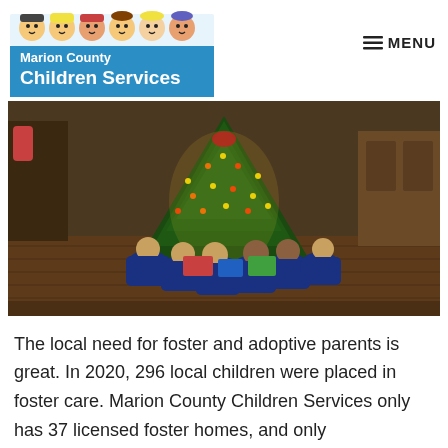Marion County Children Services — MENU
[Figure (photo): Photo of several children in matching blue Christmas pajamas gathered around a lit Christmas tree with presents, viewed from behind, in a home setting with hardwood floors.]
The local need for foster and adoptive parents is great. In 2020, 296 local children were placed in foster care. Marion County Children Services only has 37 licensed foster homes, and only